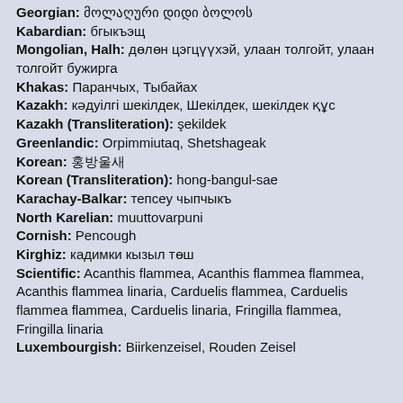Georgian: მოლაღური დიდი ბოლოს
Kabardian: бгыкъэщ
Mongolian, Halh: дөлөн цэгцүүхэй, улаан толгойт, улаан толгойт бужирга
Khakas: Паранчых, Тыбайах
Kazakh: кәдуілгі шекілдек, Шекілдек, шекілдек құс
Kazakh (Transliteration): şekildek
Greenlandic: Orpimmiutaq, Shetshageak
Korean: 홍방울새
Korean (Transliteration): hong-bangul-sae
Karachay-Balkar: тепсеу чыпчыкъ
North Karelian: muuttovarpuni
Cornish: Pencough
Kirghiz: кадимки кызыл төш
Scientific: Acanthis flammea, Acanthis flammea flammea, Acanthis flammea linaria, Carduelis flammea, Carduelis flammea flammea, Carduelis linaria, Fringilla flammea, Fringilla linaria
Luxembourgish: Biirkenzeisel, Rouden Zeisel